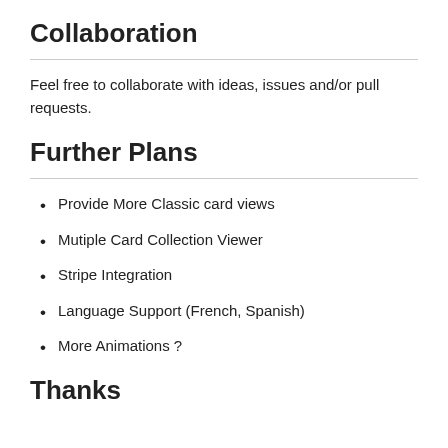Collaboration
Feel free to collaborate with ideas, issues and/or pull requests.
Further Plans
Provide More Classic card views
Mutiple Card Collection Viewer
Stripe Integration
Language Support (French, Spanish)
More Animations ?
Thanks